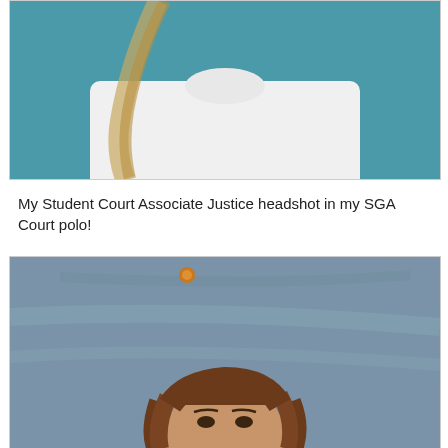[Figure (photo): Top portion of a headshot photo showing a person in a white t-shirt against a blue/teal background, cropped to show neck/shoulders/torso only]
My Student Court Associate Justice headshot in my SGA Court polo!
[Figure (photo): A headshot photo of a person with long brown hair against a blue/grey mottled backdrop, with a small round orange wall fixture visible near the top center]